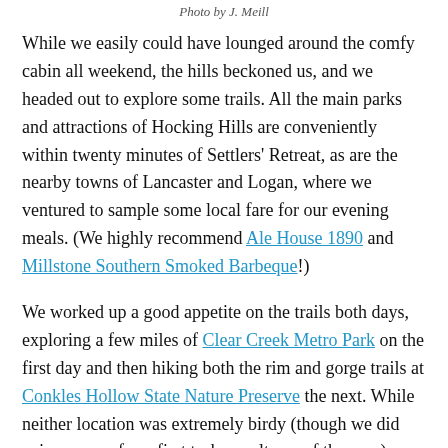Photo by J. Meill
While we easily could have lounged around the comfy cabin all weekend, the hills beckoned us, and we headed out to explore some trails. All the main parks and attractions of Hocking Hills are conveniently within twenty minutes of Settlers' Retreat, as are the nearby towns of Lancaster and Logan, where we ventured to sample some local fare for our evening meals. (We highly recommend Ale House 1890 and Millstone Southern Smoked Barbeque!)
We worked up a good appetite on the trails both days, exploring a few miles of Clear Creek Metro Park on the first day and then hiking both the rim and gorge trails at Conkles Hollow State Nature Preserve the next. While neither location was extremely birdy (though we did enjoy some of our first turkey vultures of the year), we had an abundance of nature at hand to keep us occupied and in awe and wonder: a mysterious trail of feathers, bobcat scat,